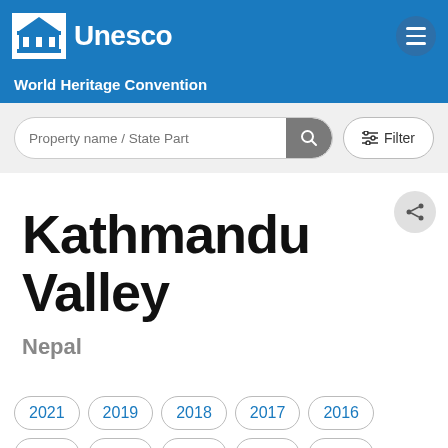Unesco World Heritage Convention
[Figure (screenshot): UNESCO logo with building icon in white box on blue background]
Property name / State Part [search bar with filter button]
Kathmandu Valley
Nepal
2021
2019
2018
2017
2016
2015
2013
2012
2011
2008